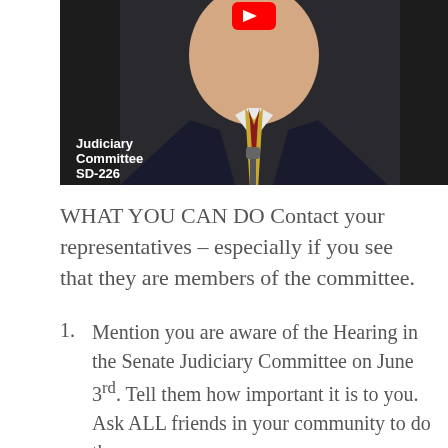[Figure (photo): Video thumbnail of a man in a dark suit with a red tie and yellow tie, sitting at what appears to be a hearing room. Text overlay reads 'Judiciary Committee SD-226'. A red play button is visible at the top.]
WHAT YOU CAN DO Contact your representatives – especially if you see that they are members of the committee.
Mention you are aware of the Hearing in the Senate Judiciary Committee on June 3rd. Tell them how important it is to you. Ask ALL friends in your community to do the same.
Look at the list of Judiciary Committee members – if any of these members are your representatives you need to get your